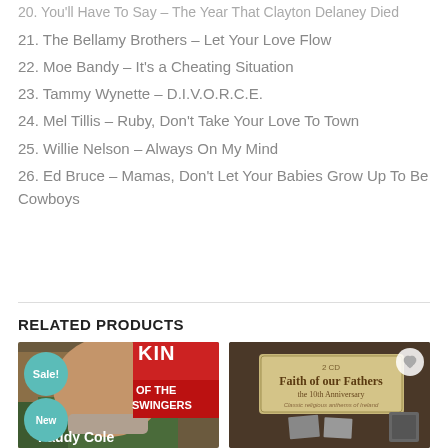20. You'll Have To Say – The Year That Clayton Delaney Died
21. The Bellamy Brothers – Let Your Love Flow
22. Moe Bandy – It's a Cheating Situation
23. Tammy Wynette – D.I.V.O.R.C.E.
24. Mel Tillis – Ruby, Don't Take Your Love To Town
25. Willie Nelson – Always On My Mind
26. Ed Bruce – Mamas, Don't Let Your Babies Grow Up To Be Cowboys
RELATED PRODUCTS
[Figure (photo): Album cover for Paddy Cole 'King of the Swingers' with Sale! and New badges]
[Figure (photo): Album cover for 'Faith of our Fathers – the 10th Anniversary, Classic religious anthems of Ireland', 2 CD, with heart/wishlist button]